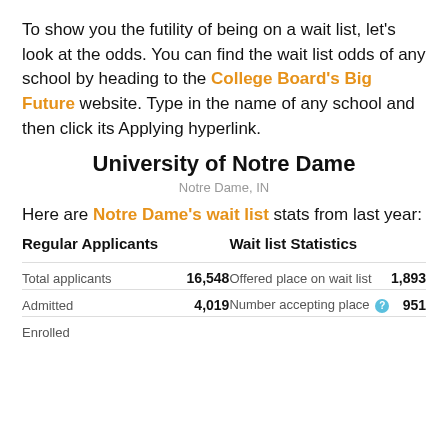To show you the futility of being on a wait list, let's look at the odds. You can find the wait list odds of any school by heading to the College Board's Big Future website. Type in the name of any school and then click its Applying hyperlink.
University of Notre Dame
Notre Dame, IN
Here are Notre Dame's wait list stats from last year:
| Regular Applicants |  | Wait list Statistics |  |
| --- | --- | --- | --- |
| Total applicants | 16,548 | Offered place on wait list | 1,893 |
| Admitted | 4,019 | Number accepting place | 951 |